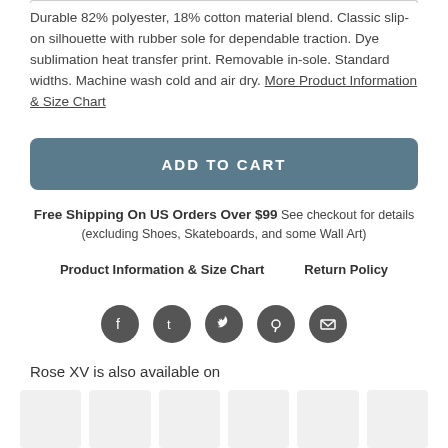Durable 82% polyester, 18% cotton material blend. Classic slip-on silhouette with rubber sole for dependable traction. Dye sublimation heat transfer print. Removable in-sole. Standard widths. Machine wash cold and air dry. More Product Information & Size Chart
ADD TO CART
Free Shipping On US Orders Over $99 See checkout for details (excluding Shoes, Skateboards, and some Wall Art)
Product Information & Size Chart
Return Policy
[Figure (infographic): Five circular social media share icons: Facebook, Tumblr, Twitter, Pinterest, Email]
Rose XV is also available on
[Figure (photo): Six product thumbnail images in a row, shown partially cropped at bottom of page]